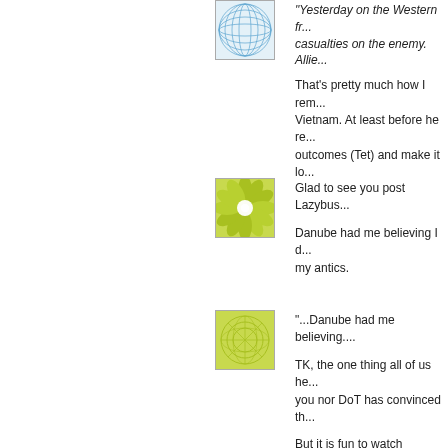[Figure (illustration): Blue circular geometric pattern avatar icon with grid/sphere lines on white background]
"Yesterday on the Western fr... casualties on the enemy. Allie...
That's pretty much how I rem... Vietnam. At least before he re... outcomes (Tet) and make it lo...
[Figure (illustration): Yellow-green flower/mandala geometric pattern avatar icon on white background]
Glad to see you post Lazybus...
Danube had me believing I d... my antics.
[Figure (illustration): Yellow-green circular geometric pattern avatar icon on white background]
"...Danube had me believing....
TK, the one thing all of us he... you nor DoT has convinced th...
But it is fun to watch sometim...
:-)